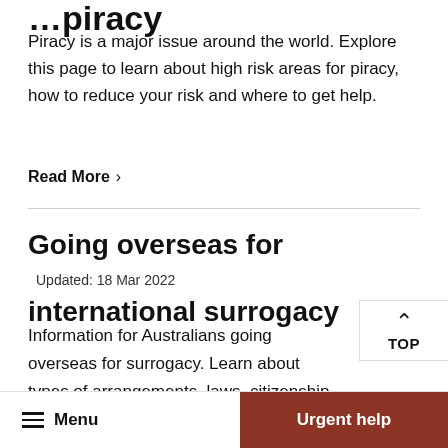...piracy
Piracy is a major issue around the world. Explore this page to learn about high risk areas for piracy, how to reduce your risk and where to get help.
Read More ›
Going overseas for international surrogacy
Updated: 18 Mar 2022
Information for Australians going overseas for surrogacy. Learn about types of arrangements, laws, citizenship and visas.
≡ Menu    Urgent help